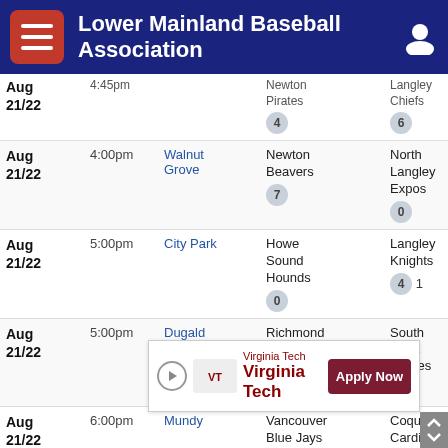Lower Mainland Baseball Association
| Date | Time | Venue | Team 1 | Team 2 |
| --- | --- | --- | --- | --- |
| Aug 21/22 | 4:45pm | Colebrook | Newton Pirates 4 | Langley Chiefs 6 |
| Aug 21/22 | 4:00pm | Walnut Grove | Newton Beavers 7 | North Langley Expos 0 |
| Aug 21/22 | 5:00pm | City Park | Howe Sound Hounds 0 | Langley Knights 4 |
| Aug 21/22 | 5:00pm | Dugald Morrison | Richmond Athletics 2 | South Delta Padres 10 |
| Aug 21/22 | 6:00pm | Mundy | Vancouver Blue Jays 7 | Coquitlam Cardinals 3 |
| Aug 27/... |  |  | ... | Vancouver... |
[Figure (infographic): Virginia Tech advertisement banner with Apply Now button]